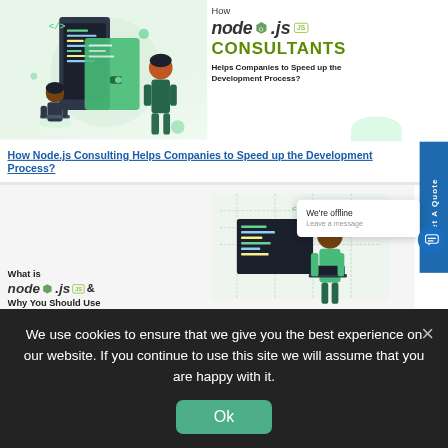[Figure (illustration): Node.js consultants infographic showing two developers with digital interfaces, titled 'How node.js CONSULTANTS Helps Companies to Speed up the Development Process?']
How Node.js Consulting Helps Companies to Speed up the Development Process?
[Figure (illustration): What is node.js & Why You Should Use it — illustration with developer at workstation]
We're offline
Leave a message
We use cookies to ensure that we give you the best experience on our website. If you continue to use this site we will assume that you are happy with it.
Ok